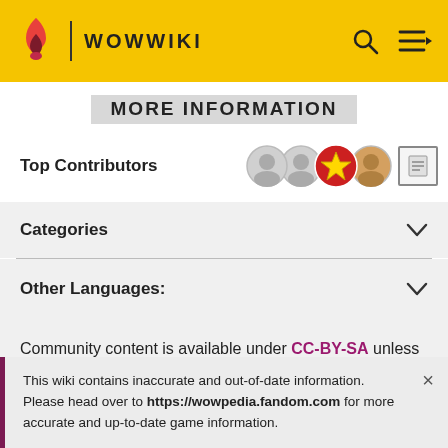WOWWIKI
MORE INFORMATION
Top Contributors
Categories
Other Languages:
Community content is available under CC-BY-SA unless otherwise noted.
This wiki contains inaccurate and out-of-date information. Please head over to https://wowpedia.fandom.com for more accurate and up-to-date game information.